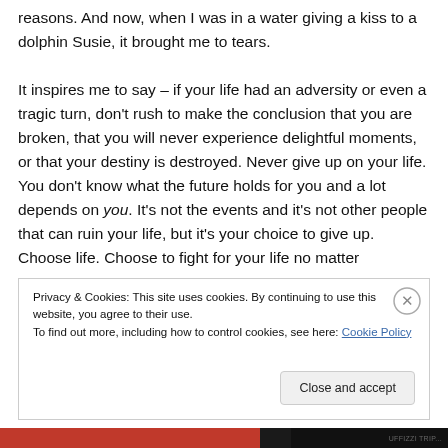reasons. And now, when I was in a water giving a kiss to a dolphin Susie, it brought me to tears.

It inspires me to say – if your life had an adversity or even a tragic turn, don't rush to make the conclusion that you are broken, that you will never experience delightful moments, or that your destiny is destroyed. Never give up on your life. You don't know what the future holds for you and a lot depends on you. It's not the events and it's not other people that can ruin your life, but it's your choice to give up. Choose life. Choose to fight for your life no matter
Privacy & Cookies: This site uses cookies. By continuing to use this website, you agree to their use.
To find out more, including how to control cookies, see here: Cookie Policy